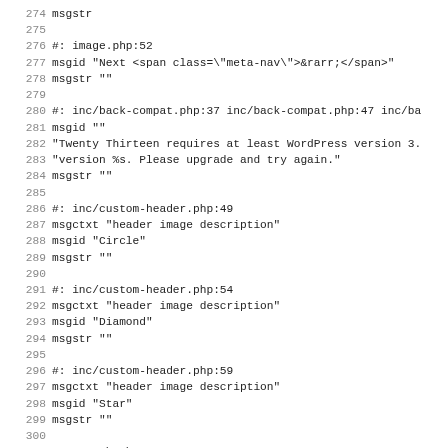274 msgstr
275
276 #: image.php:52
277 msgid "Next <span class=\"meta-nav\">→</span>"
278 msgstr ""
279
280 #: inc/back-compat.php:37 inc/back-compat.php:47 inc/ba
281 msgid ""
282 "Twenty Thirteen requires at least WordPress version 3.
283 "version %s. Please upgrade and try again."
284 msgstr ""
285
286 #: inc/custom-header.php:49
287 msgctxt "header image description"
288 msgid "Circle"
289 msgstr ""
290
291 #: inc/custom-header.php:54
292 msgctxt "header image description"
293 msgid "Diamond"
294 msgstr ""
295
296 #: inc/custom-header.php:59
297 msgctxt "header image description"
298 msgid "Star"
299 msgstr ""
300
301 #: search.php:18
302 msgid "Search Results for: %s"
303 msgstr ""
304
305 #: tag.php:21
306 msgid "Tag Archives: %s"